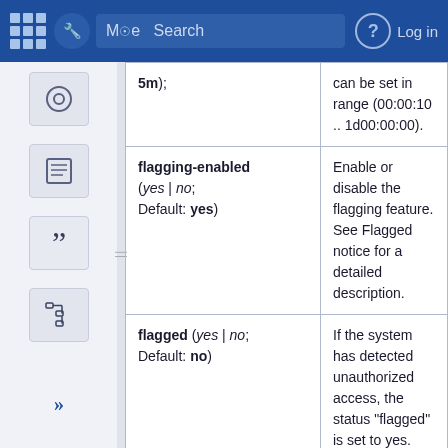| Parameter | Description |
| --- | --- |
| 5m); | can be set in range (00:00:10 .. 1d00:00:00). |
| flagging-enabled (yes | no; Default: yes) | Enable or disable the flagging feature. See Flagged notice for a detailed description. |
| flagged (yes | no; Default: no) | If the system has detected unauthorized access, the status "flagged" is set to yes. |
| mode: (home, | Allows choosing from available ... |